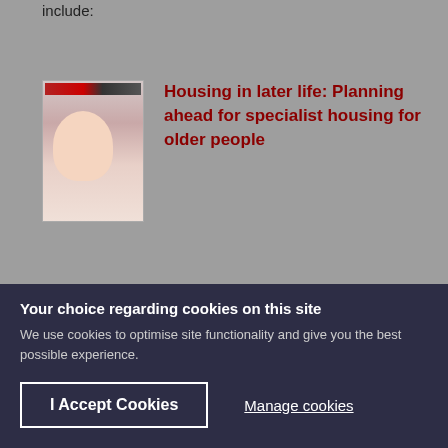include:
[Figure (photo): Thumbnail image of a document cover showing an older woman]
Housing in later life: Planning ahead for specialist housing for older people
[Figure (photo): Thumbnail image of a document with text lines]
Update on issues arising with regard to CIL (Community Infrastructure Levy) and specialist housing for older people and
Your choice regarding cookies on this site
We use cookies to optimise site functionality and give you the best possible experience.
I Accept Cookies
Manage cookies